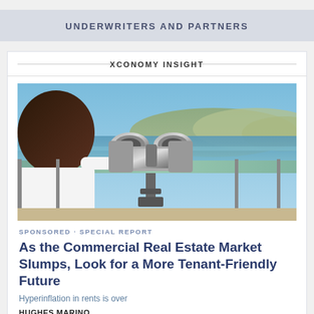UNDERWRITERS AND PARTNERS
XCONOMY INSIGHT
[Figure (photo): A child looking through coin-operated binoculars at a coastal view, likely La Jolla or similar California coastline]
SPONSORED · SPECIAL REPORT
As the Commercial Real Estate Market Slumps, Look for a More Tenant-Friendly Future
Hyperinflation in rents is over
HUGHES MARINO